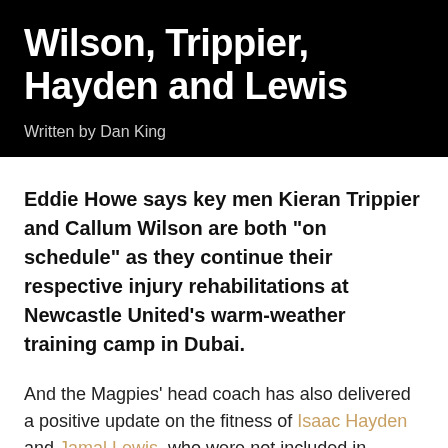Wilson, Trippier, Hayden and Lewis
Written by Dan King
Eddie Howe says key men Kieran Trippier and Callum Wilson are both "on schedule" as they continue their respective injury rehabilitations at Newcastle United's warm-weather training camp in Dubai.
And the Magpies' head coach has also delivered a positive update on the fitness of Isaac Hayden and Jamal Lewis, who were not included in United's 25-man